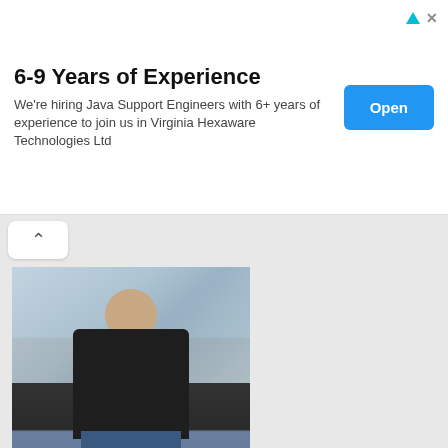6-9 Years of Experience
We're hiring Java Support Engineers with 6+ years of experience to join us in Virginia Hexaware Technologies Ltd
[Figure (photo): Person standing in a snowy outdoor setting wearing a dark jacket and jeans]
Deep
A child with only Cars and Bikes as his toys. Dreams about driving every car on this planet during night and wakes up to work for it.
Reply